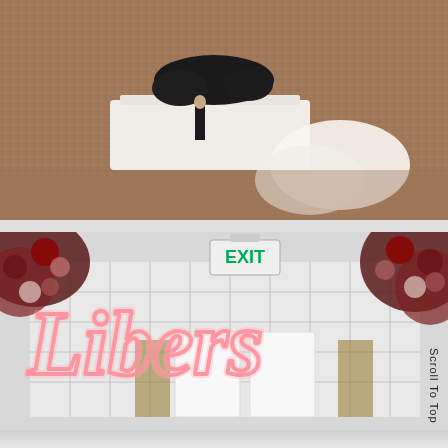[Figure (photo): Aerial/overhead view of a wedding ceremony or event setup, showing a person in a suit standing on a graveled surface near white fabric or draping and dark floral arrangements]
[Figure (photo): Interior event venue photo showing a pink neon cursive sign reading something like 'Libers' or similar, with a green EXIT sign on the wall, a grid/wire panel backdrop, and large floral arrangements with dark red and mauve roses in the upper corners]
Scroll To Top